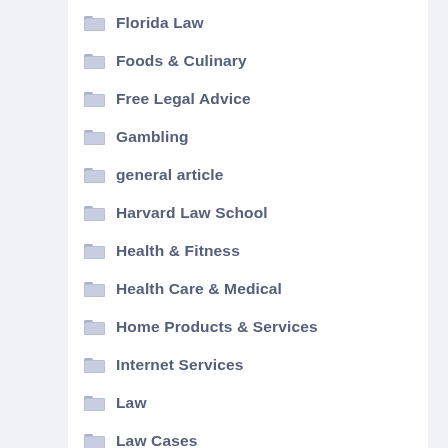Florida Law
Foods & Culinary
Free Legal Advice
Gambling
general article
Harvard Law School
Health & Fitness
Health Care & Medical
Home Products & Services
Internet Services
Law
Law Cases